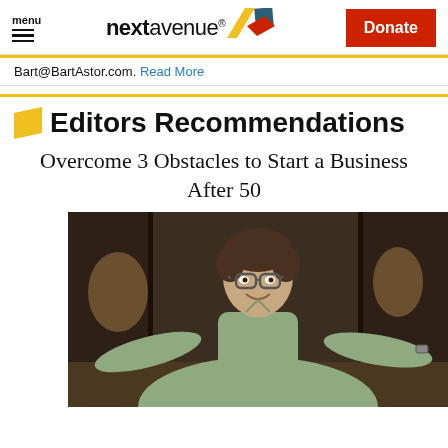menu | nextavenue® | Donate
Bart@BartAstor.com. Read More
Editors Recommendations
Overcome 3 Obstacles to Start a Business After 50
[Figure (photo): Middle-aged man with glasses wearing a light green polo shirt, standing with arms spread wide in what appears to be a shop or store with wooden furniture in the background]